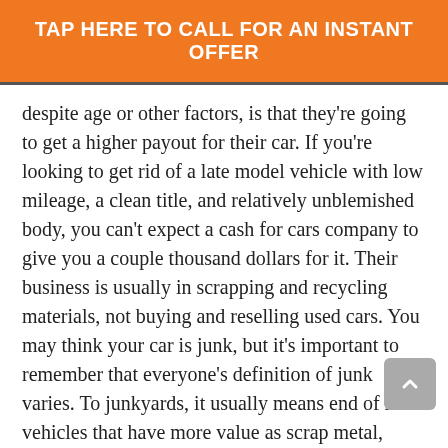TAP HERE TO CALL FOR AN INSTANT OFFER
despite age or other factors, is that they're going to get a higher payout for their car. If you're looking to get rid of a late model vehicle with low mileage, a clean title, and relatively unblemished body, you can't expect a cash for cars company to give you a couple thousand dollars for it. Their business is usually in scrapping and recycling materials, not buying and reselling used cars. You may think your car is junk, but it's important to remember that everyone's definition of junk varies. To junkyards, it usually means end of life vehicles that have more value as scrap metal, rather than parts. To you, it might mean the car handles horribly and is a gas guzzler. On the other hand, what you might think is incredibly